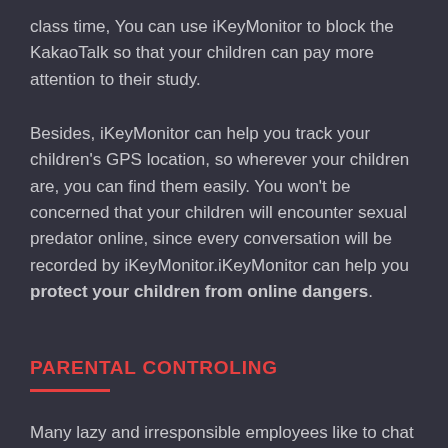class time, You can use iKeyMonitor to block the KakaoTalk so that your children can pay more attention to their study.
Besides, iKeyMonitor can help you track your children's GPS location, so wherever your children are, you can find them easily. You won't be concerned that your children will encounter sexual predator online, since every conversation will be recorded by iKeyMonitor.iKeyMonitor can help you protect your children from online dangers.
PARENTAL CONTROLING
Many lazy and irresponsible employees like to chat on KakaoTalk with their friends or families at working